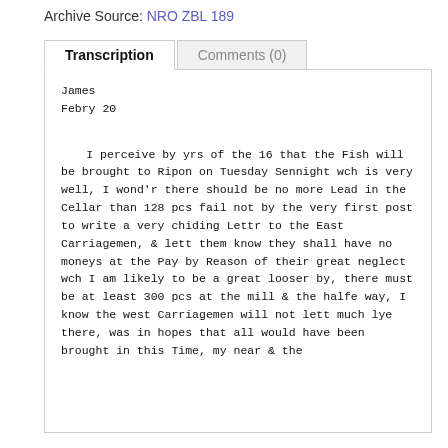Archive Source: NRO ZBL 189
Transcription | Comments (0)
James
Febry 20

        I perceive by yrs of the 16 that the Fish will be brought to Ripon on Tuesday Sennight wch is very well, I wond'r there should be no more Lead in the Cellar than 128 pcs fail not by the very first post to write a very chiding Lettr to the East Carriagemen, & lett them know they shall have no moneys at the Pay by Reason of their great neglect wch I am likely to be a great looser by, there must be at least 300 pcs at the mill & the halfe way, I know the west Carriagemen will not lett much lye there, was in hopes that all would have been brought in this Time, my near & the